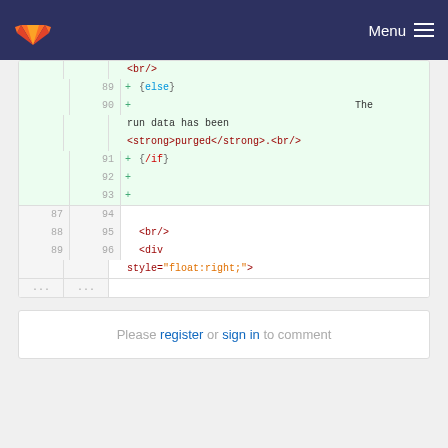Menu
[Figure (screenshot): GitLab code diff view showing lines 89-96 with added lines (green background) containing template code with {else}, run data has been <strong>purged</strong>.<br/>, {/if} blocks, and <br/>, <div style="float:right;"> HTML tags]
Please register or sign in to comment